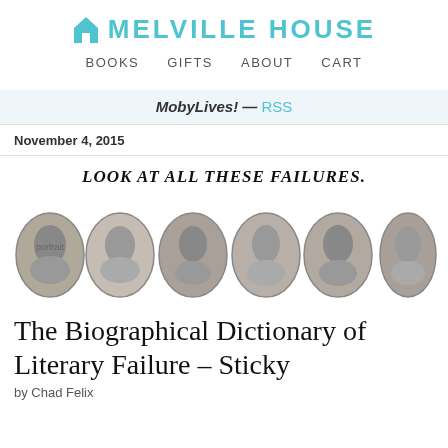MELVILLE HOUSE
BOOKS   GIFTS   ABOUT   CART
MobyLives! — RSS
November 4, 2015
[Figure (photo): Banner image with text 'LOOK AT ALL THESE FAILURES.' above six oval black-and-white portrait photographs of literary figures]
The Biographical Dictionary of Literary Failure – Sticky
by Chad Felix